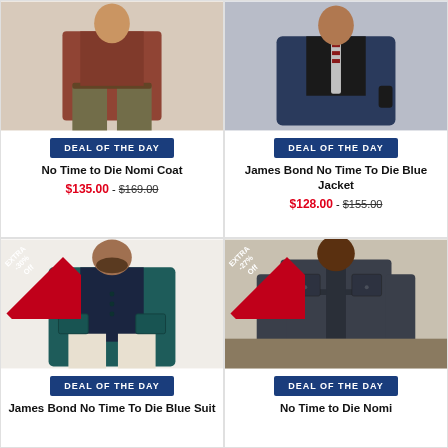[Figure (photo): Person wearing a rust/brown coat with brown pants and belt]
DEAL OF THE DAY
No Time to Die Nomi Coat
$135.00 - $169.00
[Figure (photo): Person in a navy/blue jacket with black shirt and striped tie]
DEAL OF THE DAY
James Bond No Time To Die Blue Jacket
$128.00 - $155.00
[Figure (photo): Man wearing a teal/dark green jacket over a navy shirt with light trousers, EXTRA -30% Off ribbon]
DEAL OF THE DAY
James Bond No Time To Die Blue Suit
[Figure (photo): Woman in dark military-style jacket/vest with gear, EXTRA -27% Off ribbon]
DEAL OF THE DAY
No Time to Die Nomi